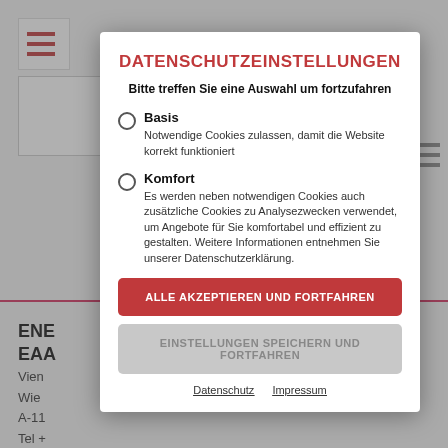[Figure (screenshot): Background website page partially visible behind a cookie consent modal dialog. Shows hamburger menu icons, a logo box, a pink horizontal line, and contact information including company name ENE/EAA, address lines in Vienna, fax, email office@energieallianz.at, and URL https://www.energieallianz.at]
DATENSCHUTZEINSTELLUNGEN
Bitte treffen Sie eine Auswahl um fortzufahren
Basis
Notwendige Cookies zulassen, damit die Website korrekt funktioniert
Komfort
Es werden neben notwendigen Cookies auch zusätzliche Cookies zu Analysezwecken verwendet, um Angebote für Sie komfortabel und effizient zu gestalten. Weitere Informationen entnehmen Sie unserer Datenschutzerklärung.
ALLE AKZEPTIEREN UND FORTFAHREN
EINSTELLUNGEN SPEICHERN UND FORTFAHREN
Datenschutz    Impressum